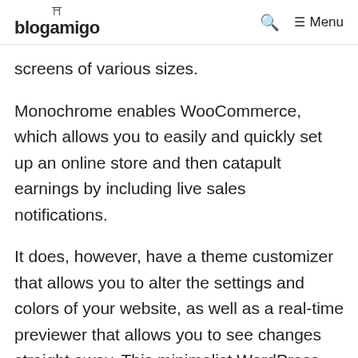blogamigo  Menu
screens of various sizes.
Monochrome enables WooCommerce, which allows you to easily and quickly set up an online store and then catapult earnings by including live sales notifications.
It does, however, have a theme customizer that allows you to alter the settings and colors of your website, as well as a real-time previewer that allows you to see changes straight away. This minimalist WordPress theme also had blog manage settings for